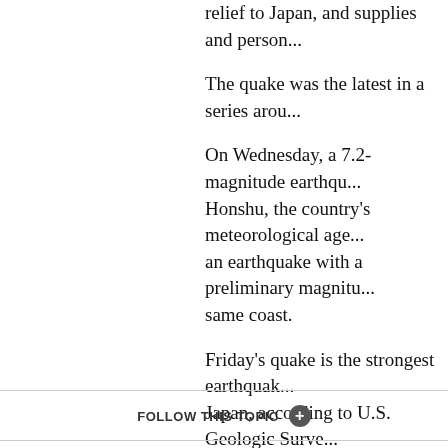relief to Japan, and supplies and person...
The quake was the latest in a series arou...
On Wednesday, a 7.2-magnitude earthqu... Honshu, the country's meteorological age... an earthquake with a preliminary magnitu... same coast.
Friday's quake is the strongest earthquak... Japan, according to U.S. Geologic Surve...
The world's largest recorded quake took... 1960, with a magnitude of 9.5, the USGS...
CNN's Tom Watkins, Anna Coren, Kyung Lah, Paula Voigt and Sean Morris contributed to this report.
Twitter | Share | Email | Save | Print
FOLLOW THIS TOPIC